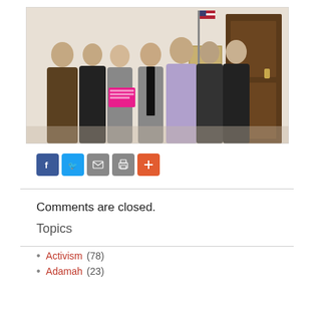[Figure (photo): Group of seven people posing in a hallway near a door with an American flag and a plaque on the wall. One person holds a pink sign.]
[Figure (infographic): Social sharing buttons: Facebook (blue), Twitter (light blue), Email (grey), Print (grey), Plus/More (orange-red)]
Comments are closed.
Topics
Activism (78)
Adamah (23)